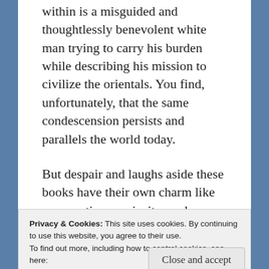within is a misguided and thoughtlessly benevolent white man trying to carry his burden while describing his mission to civilize the orientals. You find, unfortunately, that the same condescension persists and parallels the world today.

But despair and laughs aside these books have their own charm like some antique curiosity made greater by age. There's something about the language you see, it's so smooth, functional and easy to drink that it flows by
Privacy & Cookies: This site uses cookies. By continuing to use this website, you agree to their use.
To find out more, including how to control cookies, see here:
Cookie Policy
Close and accept
while you imagine those plains, the valleys,